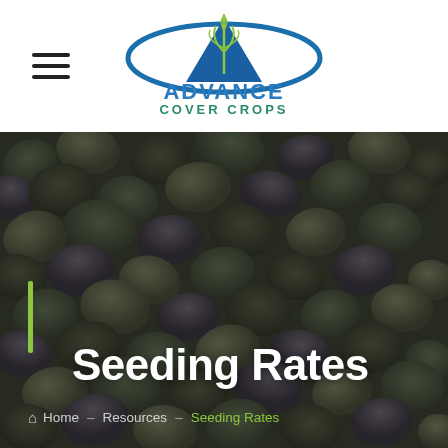[Figure (logo): Advance Cover Crops logo — blue triangle with green wheat leaves, blue oval swoosh, green text ADVANCE, teal text COVER CROPS]
[Figure (photo): Close-up photo of mixed cover crop seeds (beans/legumes), dark gray-green tones with dark overlay]
Seeding Rates
Home – Resources – Seeding Rates